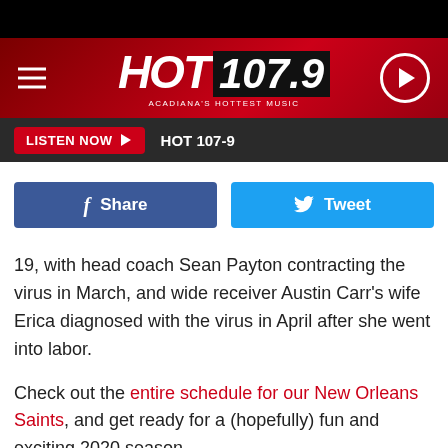[Figure (logo): HOT 107.9 - Acadiana's Hottest Music radio station logo on red gradient background with hamburger menu and play button]
LISTEN NOW ▶  HOT 107-9
[Figure (infographic): Facebook Share button (blue) and Twitter Tweet button (cyan) side by side]
19, with head coach Sean Payton contracting the virus in March, and wide receiver Austin Carr's wife Erica diagnosed with the virus in April after she went into labor.
Check out the entire schedule for our New Orleans Saints, and get ready for a (hopefully) fun and exciting 2020 season.